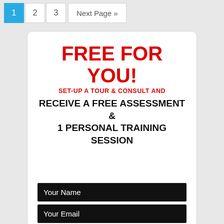1  2  3  Next Page »
FREE FOR YOU!
SET-UP A TOUR & CONSULT AND
RECEIVE A FREE ASSESSMENT & 1 PERSONAL TRAINING SESSION
Your Name
Your Email